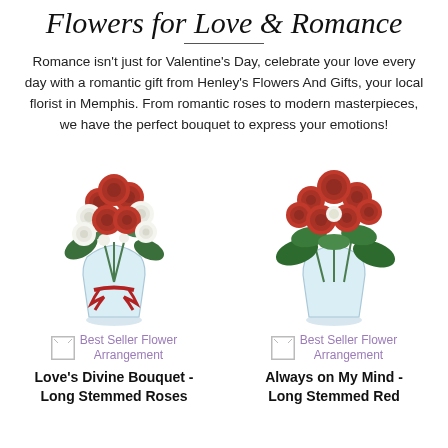Flowers for Love & Romance
Romance isn't just for Valentine's Day, celebrate your love every day with a romantic gift from Henley's Flowers And Gifts, your local florist in Memphis. From romantic roses to modern masterpieces, we have the perfect bouquet to express your emotions!
[Figure (photo): Bouquet of red and white roses with greenery in a glass vase with a red ribbon]
[Figure (photo): Bouquet of red roses with greenery in a glass vase]
[Figure (photo): Best Seller Flower Arrangement badge icon]
Best Seller Flower Arrangement
Love's Divine Bouquet - Long Stemmed Roses
[Figure (photo): Best Seller Flower Arrangement badge icon]
Best Seller Flower Arrangement
Always on My Mind - Long Stemmed Red